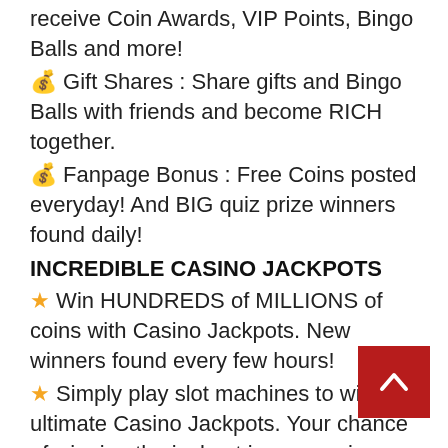receive Coin Awards, VIP Points, Bingo Balls and more!
💰 Gift Shares : Share gifts and Bingo Balls with friends and become RICH together.
💰 Fanpage Bonus : Free Coins posted everyday! And BIG quiz prize winners found daily!
INCREDIBLE CASINO JACKPOTS
⭐ Win HUNDREDS of MILLIONS of coins with Casino Jackpots. New winners found every few hours!
⭐ Simply play slot machines to win the ultimate Casino Jackpots. Your chance of winning the jackpot increases in Burning Time!
ELECTRIFYING GAME FEATURES
⚡ Lightning & Clashing Lightning Jackpots : The ultimate progressive jackpot prizes.
⚡ Lock & Roll Jackpot mode : Lock the jackpot and Roll the reels for MORE jackpot...